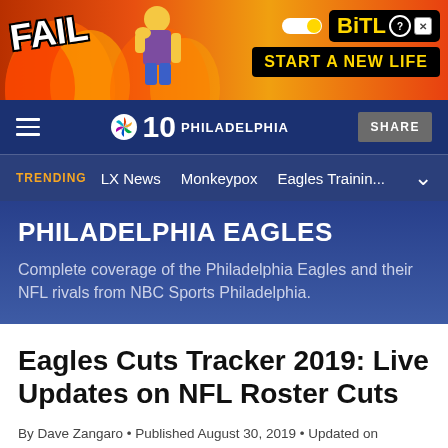[Figure (illustration): BitLife advertisement banner with 'FAIL' text, animated character, and 'START A NEW LIFE' call to action on orange/red background]
NBC 10 PHILADELPHIA  SHARE
TRENDING  LX News  Monkeypox  Eagles Trainin...
PHILADELPHIA EAGLES
Complete coverage of the Philadelphia Eagles and their NFL rivals from NBC Sports Philadelphia.
Eagles Cuts Tracker 2019: Live Updates on NFL Roster Cuts
By Dave Zangaro • Published August 30, 2019 • Updated on August 30, 2019 at 7:31...